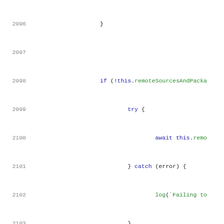[Figure (screenshot): Source code snippet showing JavaScript/TypeScript code lines 2096-2117 with line numbers on the left and syntax-highlighted code on the right. Blue keywords (if, try, catch, return, await, new), green strings and identifiers (remoteSourcesAndPacka, this.remo, Failing to, Promise, this.re), and punctuation in dark/black.]